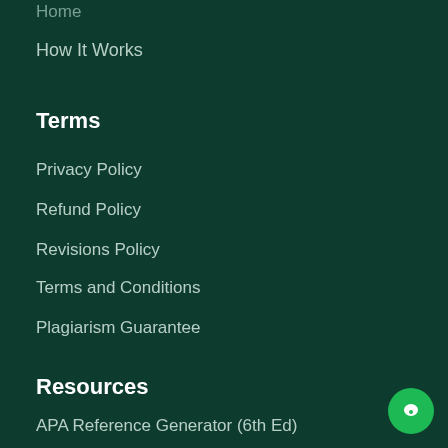Home
How It Works
Terms
Privacy Policy
Refund Policy
Revisions Policy
Terms and Conditions
Plagiarism Guarantee
Resources
APA Reference Generator (6th Ed)
Essay Typer
Harvard Reference Generator